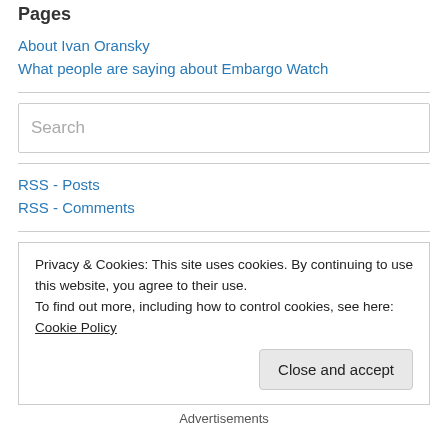Pages
About Ivan Oransky
What people are saying about Embargo Watch
[Figure (other): Search input box with placeholder text 'Search']
RSS - Posts
RSS - Comments
Privacy & Cookies: This site uses cookies. By continuing to use this website, you agree to their use. To find out more, including how to control cookies, see here: Cookie Policy
Close and accept
Advertisements